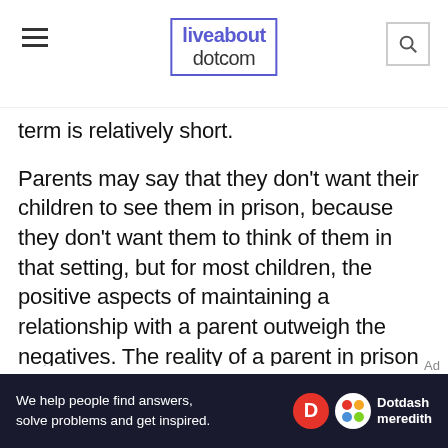liveabout dotcom
term is relatively short.
Parents may say that they don't want their children to see them in prison, because they don't want them to think of them in that setting, but for most children, the positive aspects of maintaining a relationship with a parent outweigh the negatives. The reality of a parent in prison may not be as troubling as what a child might imagine.
Children may say that they do not want to see parents, even when they do. This may be a result of anger toward the parent or apprehension about
[Figure (other): Dotdash Meredith advertisement banner with text 'We help people find answers, solve problems and get inspired.' with Dotdash Meredith logo]